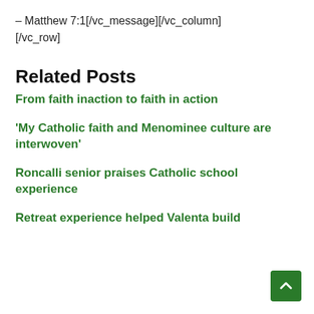– Matthew 7:1[/vc_message][/vc_column]
[/vc_row]
Related Posts
From faith inaction to faith in action
'My Catholic faith and Menominee culture are interwoven'
Roncalli senior praises Catholic school experience
Retreat experience helped Valenta build